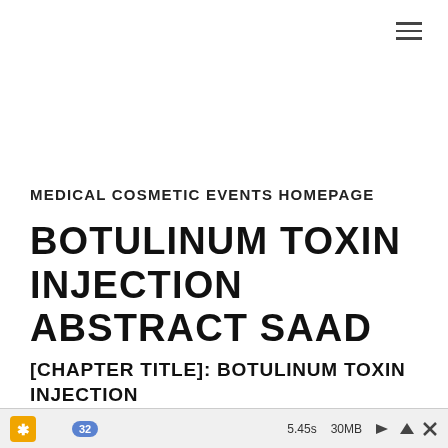MEDICAL COSMETIC EVENTS HOMEPAGE
BOTULINUM TOXIN INJECTION ABSTRACT SAAD
[CHAPTER TITLE]: BOTULINUM TOXIN INJECTION
5.45s   30MB